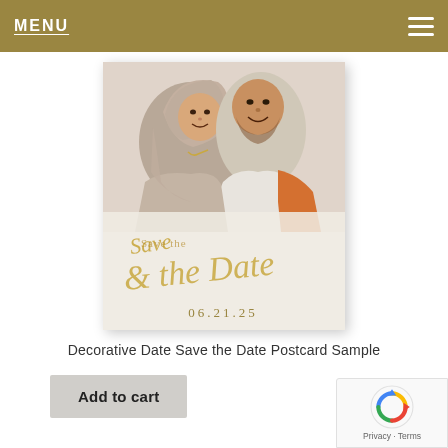MENU
[Figure (photo): A couple posing together smiling — woman wearing hijab, man in white shirt with orange jacket — overlaid with 'Save the Date' gold script text and date 06.21.25 on a light beige card/postcard product image]
Decorative Date Save the Date Postcard Sample
Add to cart